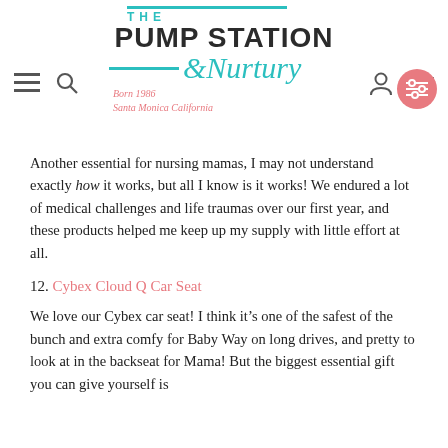[Figure (logo): The Pump Station & Nurtury logo with teal decorative lines, Born 1986 Santa Monica California tagline, and navigation icons]
Another essential for nursing mamas, I may not understand exactly how it works, but all I know is it works! We endured a lot of medical challenges and life traumas over our first year, and these products helped me keep up my supply with little effort at all.
12. Cybex Cloud Q Car Seat
We love our Cybex car seat! I think it’s one of the safest of the bunch and extra comfy for Baby Way on long drives, and pretty to look at in the backseat for Mama! But the biggest essential gift you can give yourself is